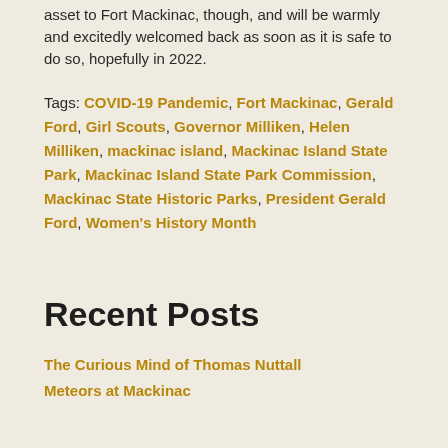asset to Fort Mackinac, though, and will be warmly and excitedly welcomed back as soon as it is safe to do so, hopefully in 2022.
Tags: COVID-19 Pandemic, Fort Mackinac, Gerald Ford, Girl Scouts, Governor Milliken, Helen Milliken, mackinac island, Mackinac Island State Park, Mackinac Island State Park Commission, Mackinac State Historic Parks, President Gerald Ford, Women's History Month
Recent Posts
The Curious Mind of Thomas Nuttall
Meteors at Mackinac